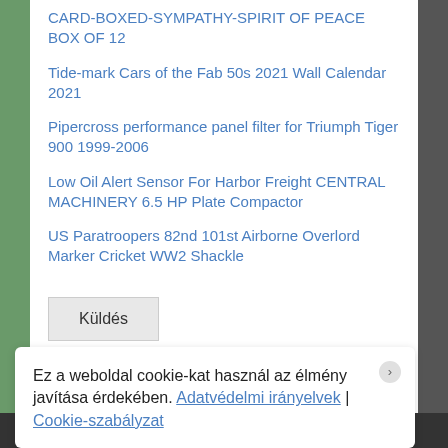CARD-BOXED-SYMPATHY-SPIRIT OF PEACE BOX OF 12
Tide-mark Cars of the Fab 50s 2021 Wall Calendar 2021
Pipercross performance panel filter for Triumph Tiger 900 1999-2006
Low Oil Alert Sensor For Harbor Freight CENTRAL MACHINERY 6.5 HP Plate Compactor
US Paratroopers 82nd 101st Airborne Overlord Marker Cricket WW2 Shackle
Küldés
Ez a weboldal cookie-kat használ az élmény javítása érdekében. Adatvédelmi irányelvek | Cookie-szabályzat